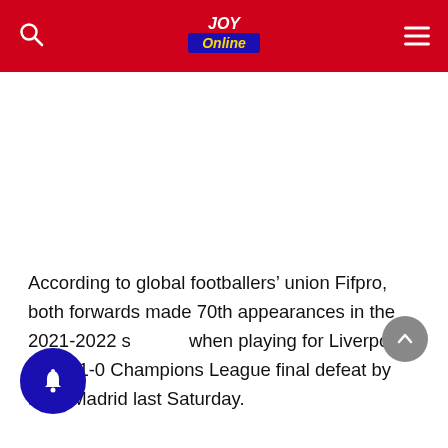JOY Online
[Figure (other): Blank white advertisement placeholder area]
According to global footballers’ union Fifpro, both forwards made 70th appearances in the 2021-2022 season when playing for Liverpool in the 1-0 Champions League final defeat by Real Madrid last Saturday.